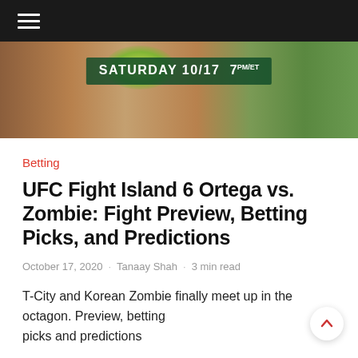Navigation menu
[Figure (photo): UFC Fight Island 6 promotional banner showing two fighters facing off with text 'SATURDAY 10/17 7PM/ET' on a dark green background]
Betting
UFC Fight Island 6 Ortega vs. Zombie: Fight Preview, Betting Picks, and Predictions
October 17, 2020 · Tanaay Shah · 3 min read
T-City and Korean Zombie finally meet up in the octagon. Preview, betting picks and predictions